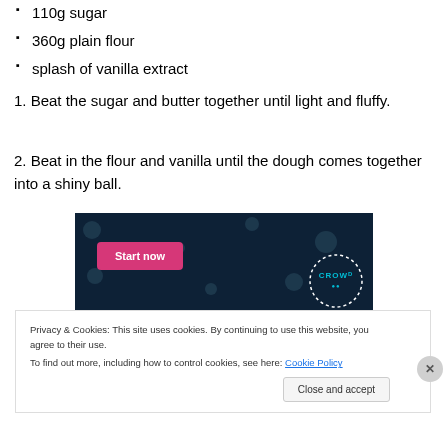110g sugar
360g plain flour
splash of vanilla extract
1. Beat the sugar and butter together until light and fluffy.
2. Beat in the flour and vanilla until the dough comes together into a shiny ball.
[Figure (screenshot): Advertisement banner with dark navy background, a pink 'Start now' button on the left, and a circular 'CROWD' logo on the right with dotted border pattern.]
Privacy & Cookies: This site uses cookies. By continuing to use this website, you agree to their use.
To find out more, including how to control cookies, see here: Cookie Policy